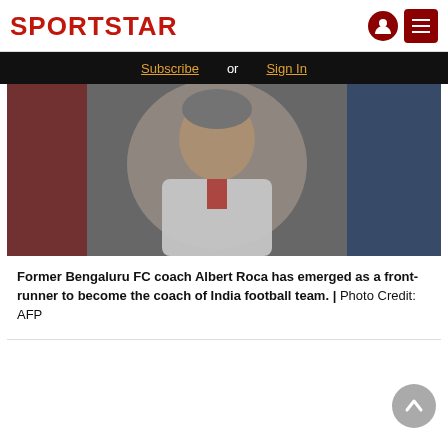SPORTSTAR
Subscribe or Sign In
[Figure (photo): Photo of former Bengaluru FC coach Albert Roca in a white jacket, looking forward, with crowd visible in background]
Former Bengaluru FC coach Albert Roca has emerged as a front-runner to become the coach of India football team. | Photo Credit: AFP